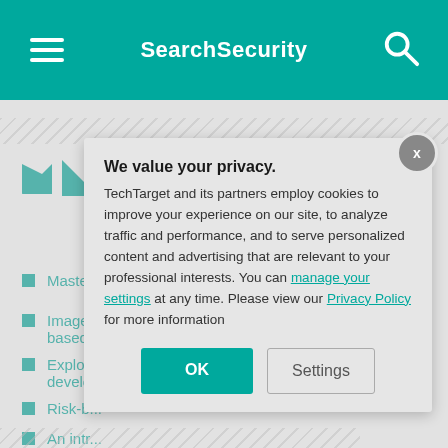SearchSecurity
Continue Reading About risk-based authentication (RBA)
Master...
Image-... based...
Explor... develo...
Risk-b...
An intr...
We value your privacy. TechTarget and its partners employ cookies to improve your experience on our site, to analyze traffic and performance, and to serve personalized content and advertising that are relevant to your professional interests. You can manage your settings at any time. Please view our Privacy Policy for more information